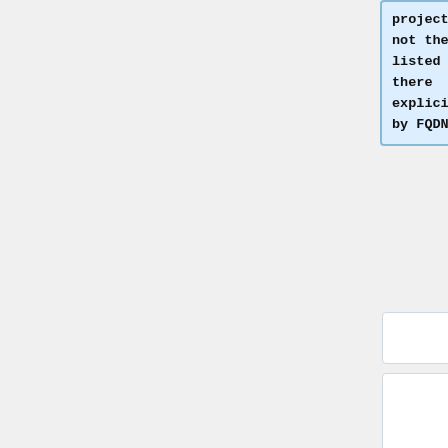project but not the two listed there explicitly by FQDN.
== Host list manipulation ==
== Host list manipulation ==
Line 136:
Line 148:
|-
|-
|
<code>cumin1001.eqiad.wmnet</code>
|
<code>cumin1001.eqiad.wmnet</code>
|-